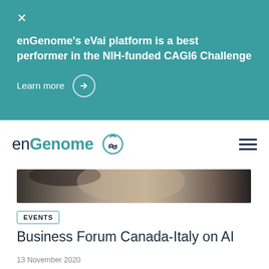×
enGenome's eVai platform is a best performer in the NIH-funded CAGI6 Challenge
Learn more →
[Figure (logo): enGenome logo with teal DNA helix icon]
[Figure (photo): Partial close-up photo of a person's face]
EVENTS
Business Forum Canada-Italy on AI
13 November 2020